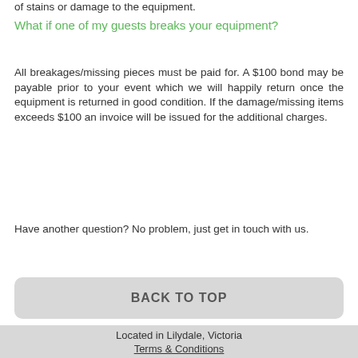of stains or damage to the equipment.
What if one of my guests breaks your equipment?
All breakages/missing pieces must be paid for. A $100 bond may be payable prior to your event which we will happily return once the equipment is returned in good condition. If the damage/missing items exceeds $100 an invoice will be issued for the additional charges.
Have another question? No problem, just get in touch with us.
BACK TO TOP
Located in Lilydale, Victoria
Terms & Conditions